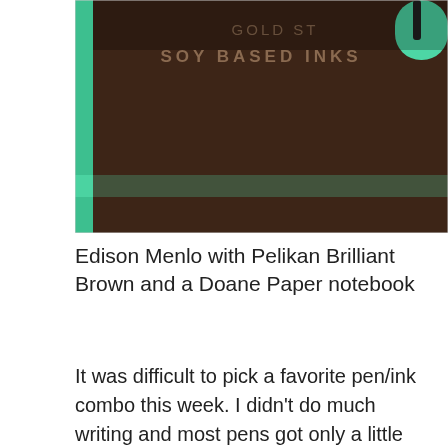[Figure (photo): Close-up photo of a dark brown/maroon notebook cover with text 'SOY BASED INKS' printed on it, resting on a green surface with a pen visible at the top right corner.]
Edison Menlo with Pelikan Brilliant Brown and a Doane Paper notebook
It was difficult to pick a favorite pen/ink combo this week. I didn't do much writing and most pens got only a little use. The Omas 360 Vintage LE wrote the most, thanks to the draft of its review. But it was with the two turquoise inks which are less than perfect on the Doane paper I was using. I decided to pick the Edison Menlo with Pelikan Brilliant Brown. It was most